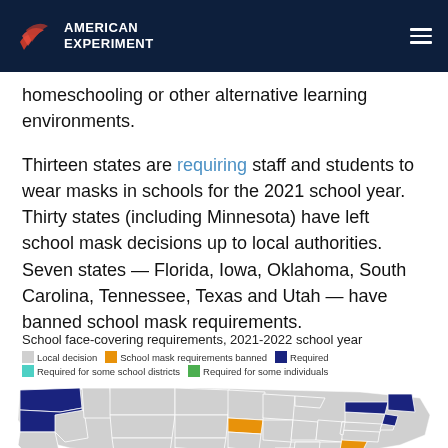American Experiment
homeschooling or other alternative learning environments.
Thirteen states are requiring staff and students to wear masks in schools for the 2021 school year. Thirty states (including Minnesota) have left school mask decisions up to local authorities. Seven states — Florida, Iowa, Oklahoma, South Carolina, Tennessee, Texas and Utah — have banned school mask requirements.
School face-covering requirements, 2021-2022 school year
[Figure (map): US map showing school face-covering requirements by state for 2021-2022 school year. Legend: Local decision (gray), School mask requirements banned (orange), Required (dark blue/navy), Required for some school districts (teal), Required for some individuals (green). Oregon and Washington appear dark blue (Required). Most states are gray (Local decision).]